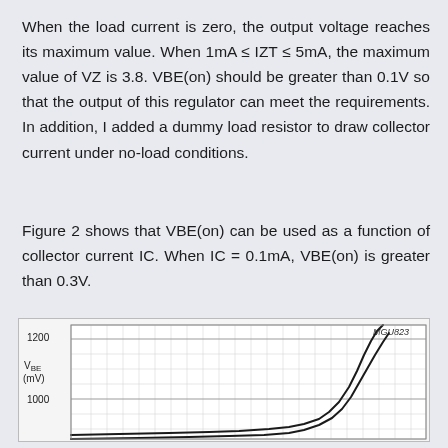When the load current is zero, the output voltage reaches its maximum value. When 1mA ≤ IZT ≤ 5mA, the maximum value of VZ is 3.8. VBE(on) should be greater than 0.1V so that the output of this regulator can meet the requirements. In addition, I added a dummy load resistor to draw collector current under no-load conditions.
Figure 2 shows that VBE(on) can be used as a function of collector current IC. When IC = 0.1mA, VBE(on) is greater than 0.3V.
[Figure (continuous-plot): Graph of VBE (mV) vs collector current IC. Y-axis shows VBE (mV) with labels at 1200 and 1000. Graph shows two curves rising steeply on right side. Labeled MGU823 in top right.]